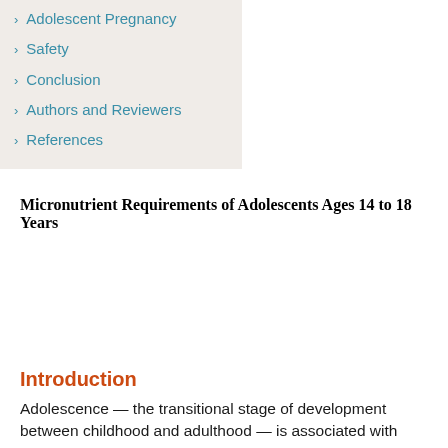› Adolescent Pregnancy
› Safety
› Conclusion
› Authors and Reviewers
› References
Micronutrient Requirements of Adolescents Ages 14 to 18 Years
Introduction
Adolescence — the transitional stage of development between childhood and adulthood — is associated with